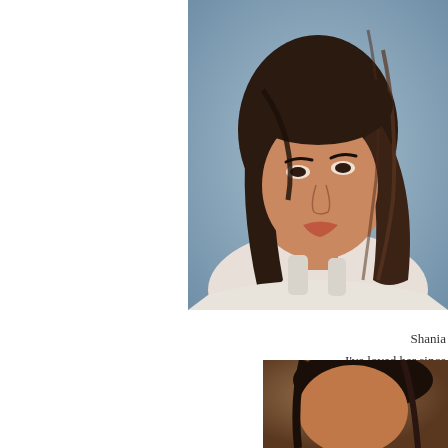[Figure (photo): Portrait photo of a woman with long dark brown hair, wearing a white top, against a gray-blue background.]
Shania
I've loved her since
Her husband was the sub
After 14 years of ma
He cheated with her long-
[Figure (photo): Partial photo at bottom right, showing a person, cropped.]